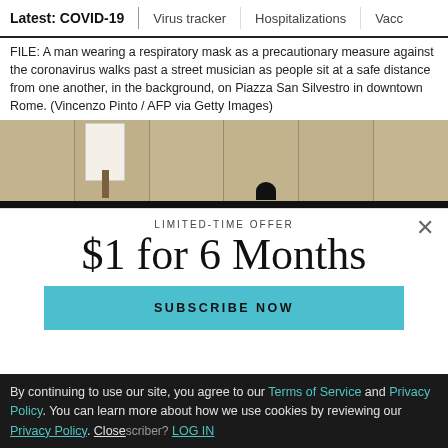Latest: COVID-19 | Virus tracker | Hospitalizations | Vacci
FILE: A man wearing a respiratory mask as a precautionary measure against the coronavirus walks past a street musician as people sit at a safe distance from one another, in the background, on Piazza San Silvestro in downtown Rome. (Vincenzo Pinto / AFP via Getty Images)
[Figure (photo): Partial photo of an indoor room with panel walls and a white object on a stand, partially cropped by a subscription modal overlay.]
LIMITED-TIME OFFER
$1 for 6 Months
SUBSCRIBE NOW
By continuing to use our site, you agree to our Terms of Service and Privacy Policy. You can learn more about how we use cookies by reviewing our Privacy Policy. Close Already a subscriber? LOG IN